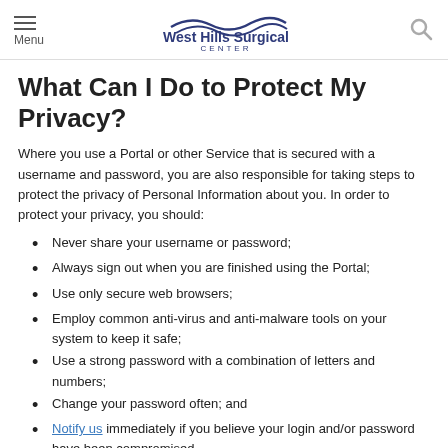Menu | West Hills Surgical Center | [search]
What Can I Do to Protect My Privacy?
Where you use a Portal or other Service that is secured with a username and password, you are also responsible for taking steps to protect the privacy of Personal Information about you. In order to protect your privacy, you should:
Never share your username or password;
Always sign out when you are finished using the Portal;
Use only secure web browsers;
Employ common anti-virus and anti-malware tools on your system to keep it safe;
Use a strong password with a combination of letters and numbers;
Change your password often; and
Notify us immediately if you believe your login and/or password have been compromised.